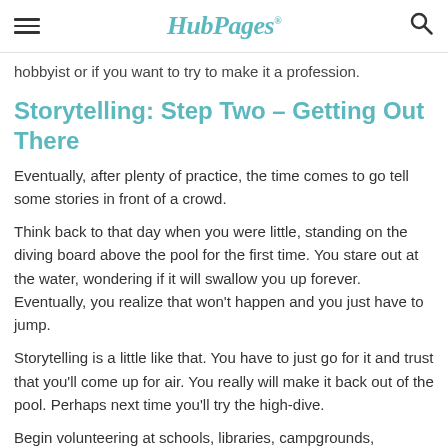HubPages
hobbyist or if you want to try to make it a profession.
Storytelling: Step Two – Getting Out There
Eventually, after plenty of practice, the time comes to go tell some stories in front of a crowd.
Think back to that day when you were little, standing on the diving board above the pool for the first time. You stare out at the water, wondering if it will swallow you up forever. Eventually, you realize that won't happen and you just have to jump.
Storytelling is a little like that. You have to just go for it and trust that you'll come up for air. You really will make it back out of the pool. Perhaps next time you'll try the high-dive.
Begin volunteering at schools, libraries, campgrounds,